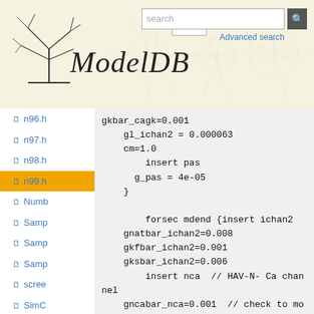[Figure (logo): ModelDB website header with tree logo, hamburger menu, search bar, and stylized ModelDB title in italic serif font]
n96.h
n97.h
n98.h
n99.h (active/selected)
Numb
Samp
Samp
Samp
scree
SimC
gkbar_cagk=0.001
    gl_ichan2 = 0.000063
    cm=1.0
        insert pas
      g_pas = 4e-05
    }

        forsec mdend {insert ichan2
    gnatbar_ichan2=0.008
    gkfbar_ichan2=0.001
    gksbar_ichan2=0.006
        insert nca  // HAV-N- Ca channel
    gncabar_nca=0.001  // check to modify- original 0.004
        insert lca
    glcabar_lca=0.0005
        insert cat
    gcatbar_cat=0.0005
        insert gskch